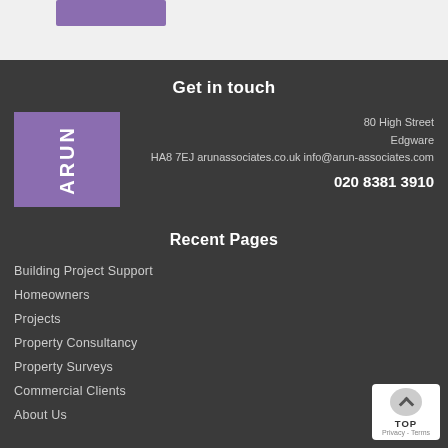[Figure (other): Purple button/banner at top of page on light grey background]
Get in touch
[Figure (logo): Arun Associates purple square logo with white vertical text ARUN]
80 High Street Edgware HA8 7EJ arunassociates.co.uk info@arun-associates.com
020 8381 3910
Recent Pages
Building Project Support
Homeowners
Projects
Property Consultancy
Property Surveys
Commercial Clients
About Us